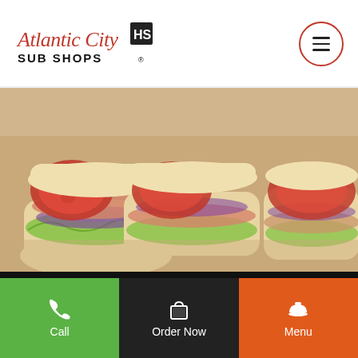[Figure (logo): Atlantic City Sub Shops logo with script text and hamburger menu icon]
[Figure (photo): Close-up photo of multiple sub sandwiches cut in half showing tomatoes, lettuce, onions, and deli meats on Italian bread]
Serving up the Jersey subs you dream about since 1986!
We are not a national chain and therefore we take
[Figure (infographic): Bottom navigation bar with three buttons: Call (green), Order Now (black), Menu (orange)]